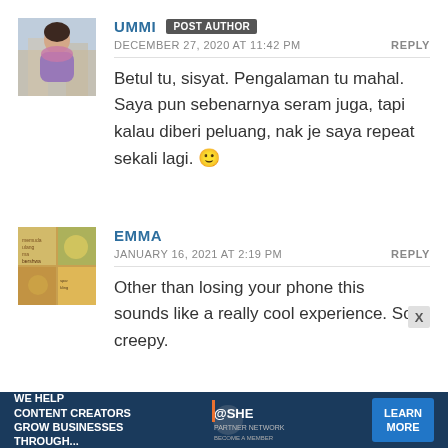UMMI POST AUTHOR
DECEMBER 27, 2020 AT 11:42 PM
REPLY
Betul tu, sisyat. Pengalaman tu mahal. Saya pun sebenarnya seram juga, tapi kalau diberi peluang, nak je saya repeat sekali lagi. 🙂
EMMA
JANUARY 16, 2021 AT 2:19 PM
REPLY
Other than losing your phone this sounds like a really cool experience. So creepy.
WE HELP CONTENT CREATORS GROW BUSINESSES THROUGH... @SHE PARTNER NETWORK BECOME A MEMBER LEARN MORE